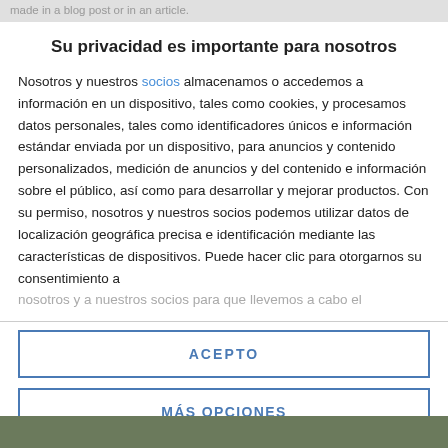made in a blog post or in an article.
Su privacidad es importante para nosotros
Nosotros y nuestros socios almacenamos o accedemos a información en un dispositivo, tales como cookies, y procesamos datos personales, tales como identificadores únicos e información estándar enviada por un dispositivo, para anuncios y contenido personalizados, medición de anuncios y del contenido e información sobre el público, así como para desarrollar y mejorar productos. Con su permiso, nosotros y nuestros socios podemos utilizar datos de localización geográfica precisa e identificación mediante las características de dispositivos. Puede hacer clic para otorgarnos su consentimiento a nosotros y a nuestros socios para que llevemos a cabo el
ACEPTO
MÁS OPCIONES